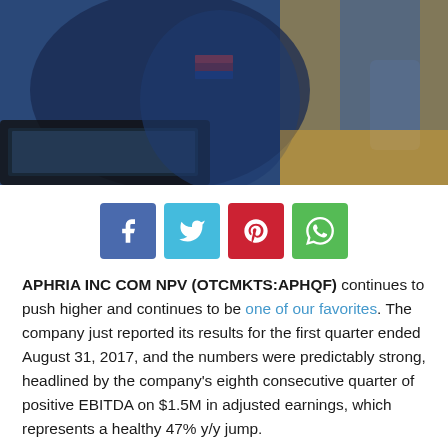[Figure (photo): Stock exchange trading floor scene showing a trader in a blue jacket with an American flag patch, working at a laptop]
[Figure (infographic): Social media sharing buttons: Facebook (blue), Twitter (cyan), Pinterest (red), WhatsApp (green)]
APHRIA INC COM NPV (OTCMKTS:APHQF) continues to push higher and continues to be one of our favorites. The company just reported its results for the first quarter ended August 31, 2017, and the numbers were predictably strong, headlined by the company's eighth consecutive quarter of positive EBITDA on $1.5M in adjusted earnings, which represents a healthy 47% y/y jump.